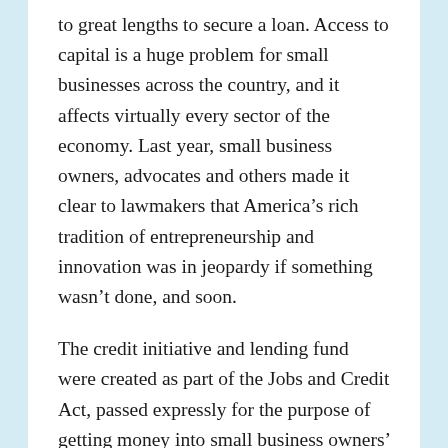to great lengths to secure a loan. Access to capital is a huge problem for small businesses across the country, and it affects virtually every sector of the economy. Last year, small business owners, advocates and others made it clear to lawmakers that America's rich tradition of entrepreneurship and innovation was in jeopardy if something wasn't done, and soon.
The credit initiative and lending fund were created as part of the Jobs and Credit Act, passed expressly for the purpose of getting money into small business owners' hands now. Under the law, a total of $30 billion will be allocated over time through these